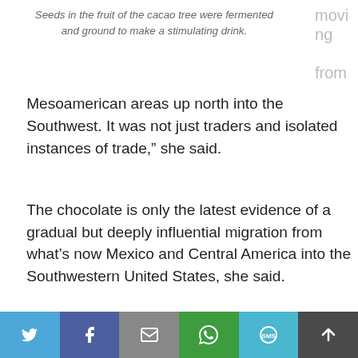Seeds in the fruit of the cacao tree were fermented and ground to make a stimulating drink.
moving from
Mesoamerican areas up north into the Southwest. It was not just traders and isolated instances of trade,” she said.
The chocolate is only the latest evidence of a gradual but deeply influential migration from what’s now Mexico and Central America into the Southwestern United States, she said.
What’s even more persuasive than the far-flung cacao is the pottery it was found in, she added.
While local ceramics around Alkali Ridge were thick-
[Figure (other): Social sharing bar with Twitter, Facebook, Email, WhatsApp, SMS, and scroll-to-top buttons]